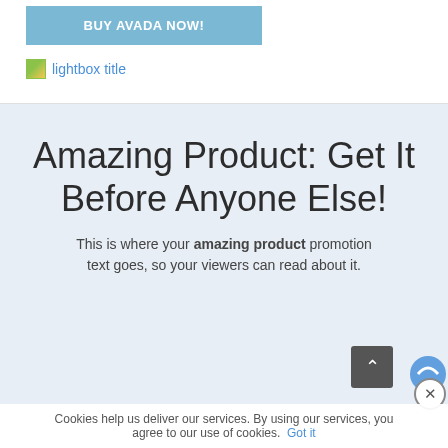[Figure (other): BUY AVADA NOW! button — a steel-blue/grey rectangular call-to-action button with bold white uppercase text]
[Figure (other): Broken image placeholder labeled 'lightbox title' with a small icon]
Amazing Product: Get It Before Anyone Else!
This is where your amazing product promotion text goes, so your viewers can read about it.
Cookies help us deliver our services. By using our services, you agree to our use of cookies.  Got it